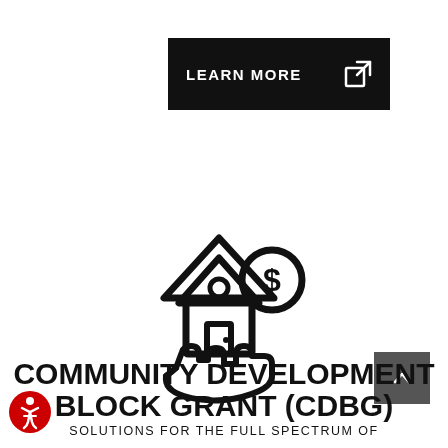[Figure (other): Black rectangular button with 'LEARN MORE' text in white and an external link icon on the right]
[Figure (illustration): Line art icon of a hand holding a house with a dollar sign coin above it, representing community development block grant funding]
COMMUNITY DEVELOPMENT BLOCK GRANT (CDBG)
SOLUTIONS FOR THE FULL SPECTRUM OF